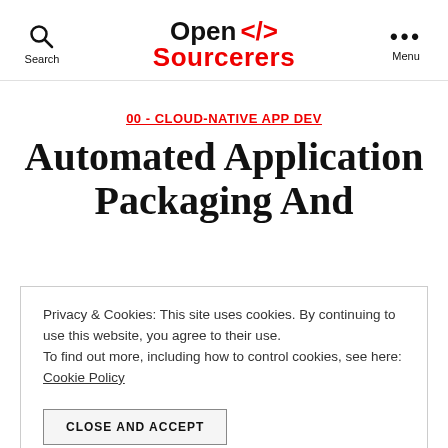Open </> Sourcerers — Search | Menu
00 - CLOUD-NATIVE APP DEV
Automated Application Packaging And
Privacy & Cookies: This site uses cookies. By continuing to use this website, you agree to their use.
To find out more, including how to control cookies, see here:
Cookie Policy
CLOSE AND ACCEPT
Part 2/4